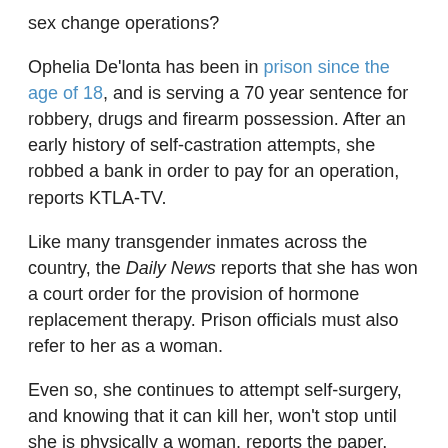sex change operations?
Ophelia De'lonta has been in prison since the age of 18, and is serving a 70 year sentence for robbery, drugs and firearm possession. After an early history of self-castration attempts, she robbed a bank in order to pay for an operation, reports KTLA-TV.
Like many transgender inmates across the country, the Daily News reports that she has won a court order for the provision of hormone replacement therapy. Prison officials must also refer to her as a woman.
Even so, she continues to attempt self-surgery, and knowing that it can kill her, won't stop until she is physically a woman, reports the paper.
Constitutionally, prisoners are only entitled to necessary and adequate medical care. Courts that have considered inmate